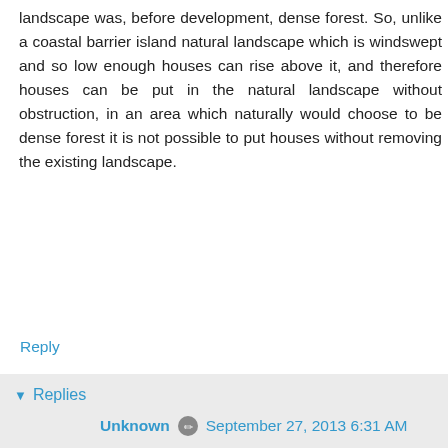landscape was, before development, dense forest. So, unlike a coastal barrier island natural landscape which is windswept and so low enough houses can rise above it, and therefore houses can be put in the natural landscape without obstruction, in an area which naturally would choose to be dense forest it is not possible to put houses without removing the existing landscape.
Reply
▾ Replies
Unknown  September 27, 2013 6:31 AM
Hi Amy,

Great points. I am aware of several of those locations you mentioned. I've had projects in a few of them. Considering a woodland development is interesting. I'm sure there are precedents for it, though the density and character of the development would make a huge difference in the quality of the wild vegetation. I also agree that Allan's point about context is